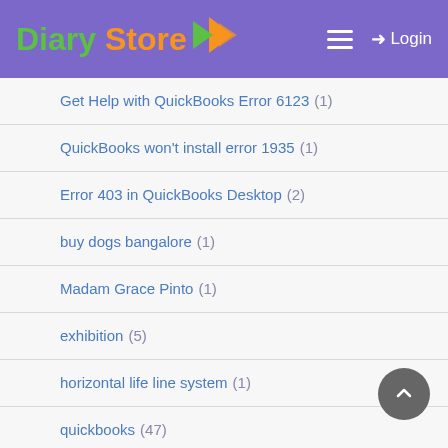Diary Store — Login
Get Help with QuickBooks Error 6123 (1)
QuickBooks won't install error 1935 (1)
Error 403 in QuickBooks Desktop (2)
buy dogs bangalore (1)
Madam Grace Pinto (1)
exhibition (5)
horizontal life line system (1)
quickbooks (47)
conveyor rollers (1)
Gravel pavers (3)
Maintenance Release Update Error 15222 (2)
ac cleaning and maintenance jumeirah (1)